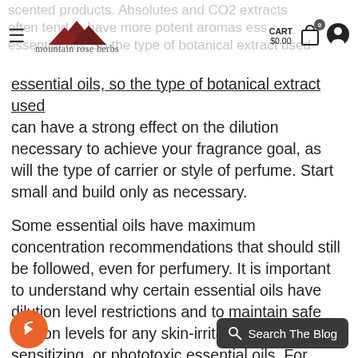mountain rose herbs — CART $0.00
essential oils, so the type of botanical extract used can have a strong effect on the dilution necessary to achieve your fragrance goal, as will the type of carrier or style of perfume. Start small and build only as necessary.
Some essential oils have maximum concentration recommendations that should still be followed, even for perfumery. It is important to understand why certain essential oils have dilution level restrictions and to maintain safe dilution levels for any skin-irritating, skin-sensitizing, or phototoxic essential oils. For example, the overall dilution of jasmine absolute in a final product should not exceed 0.7% to prevent possible skin irritation and sensitization, especially in fragrance-sensitive individuals.